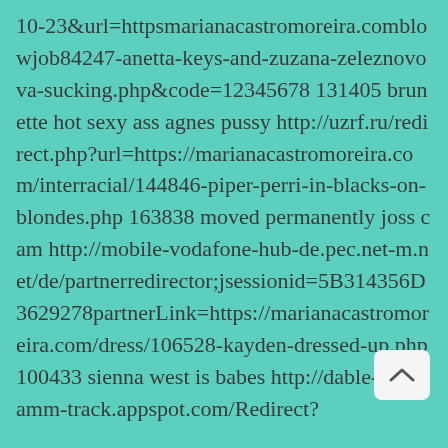10-23&url=httpsmarianacastromoreira.comblowjob84247-anetta-keys-and-zuzana-zeleznovova-sucking.php&code=12345678 131405 brunette hot sexy ass agnes pussy http://uzrf.ru/redirect.php?url=https://marianacastromoreira.com/interracial/144846-piper-perri-in-blacks-on-blondes.php 163838 moved permanently joss cam http://mobile-vodafone-hub-de.pec.net-m.net/de/partnerredirector;jsessionid=5B314356D3629278partnerLink=https://marianacastromoreira.com/dress/106528-kayden-dressed-up.php 100433 sienna west is babes http://dable-dot-yamm-track.appspot.com/Redirect?...